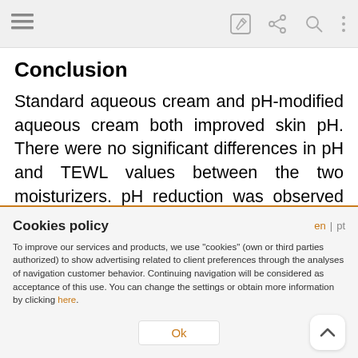[Toolbar with menu, edit, share, search, more icons]
Conclusion
Standard aqueous cream and pH-modified aqueous cream both improved skin pH. There were no significant differences in pH and TEWL values between the two moisturizers. pH reduction was observed with both moisturizers. There was significant TEWL improvement with pH-modified
Cookies policy
To improve our services and products, we use "cookies" (own or third parties authorized) to show advertising related to client preferences through the analyses of navigation customer behavior. Continuing navigation will be considered as acceptance of this use. You can change the settings or obtain more information by clicking here.
Ok